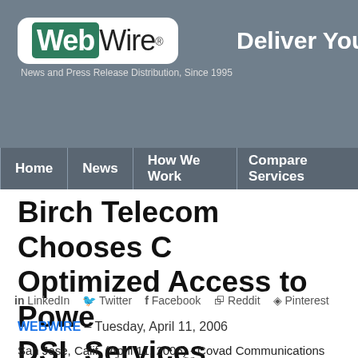WebWire® News and Press Release Distribution, Since 1995 | Deliver Your N...
Home | News | How We Work | Compare Services
Birch Telecom Chooses C... Optimized Access to Powe... DSL Services
in LinkedIn  Twitter  f Facebook  Reddit  Pinterest
WEBWIRE – Tuesday, April 11, 2006
San Jose, Calif. (April 11, 2006) - Covad Communications Grou... provider of integrated voice and data communications, and Birc... partnership to migrate Birch's dedicated business DSL custome...